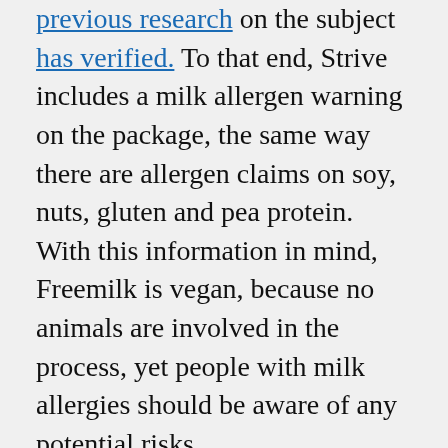previous research on the subject has verified. To that end, Strive includes a milk allergen warning on the package, the same way there are allergen claims on soy, nuts, gluten and pea protein. With this information in mind, Freemilk is vegan, because no animals are involved in the process, yet people with milk allergies should be aware of any potential risks.

Among Strive's drivers for contributing new products in the animal-free dairy category is climate change. Back in 1979, the company pioneered aseptic food processing to create high quality foods with natural ingredients and without